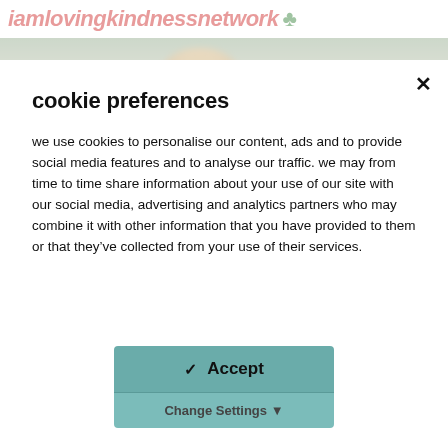iamlovingkindnessnetwork
[Figure (photo): Blurred background photo strip showing partial view of a person with light hair, muted green/beige tones]
cookie preferences
we use cookies to personalise our content, ads and to provide social media features and to analyse our traffic. we may from time to time share information about your use of our site with our social media, advertising and analytics partners who may combine it with other information that you have provided to them or that they've collected from your use of their services.
✓ Accept
Change Settings ↓